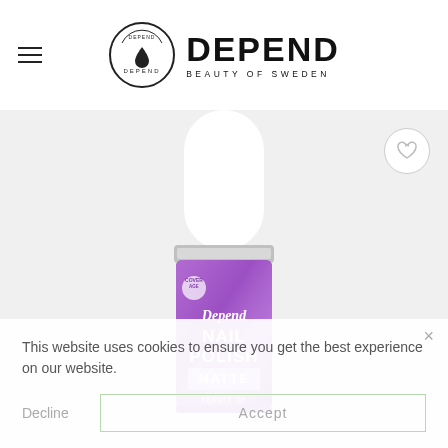DEPEND BEAUTY OF SWEDEN
[Figure (photo): Purple Depend Nail Polish bottle with white cap, Matte finish, Beauty of Sweden branding on label]
This website uses cookies to ensure you get the best experience on our website.
Decline   Accept